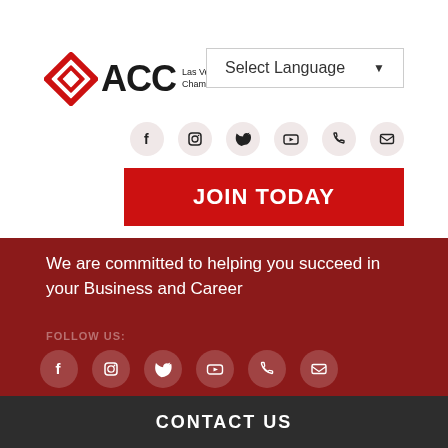[Figure (logo): ACC Las Vegas Asian Chamber of Commerce logo with red diamond/rhombus shape and ACC text]
Select Language ▼
[Figure (infographic): Social media icons: Facebook, Instagram, Twitter, YouTube, Phone, Email]
JOIN TODAY
We are committed to helping you succeed in your Business and Career
FOLLOW US:
[Figure (infographic): Social media icons bottom: Facebook, Instagram, Twitter, YouTube, Phone, Email]
CONTACT US